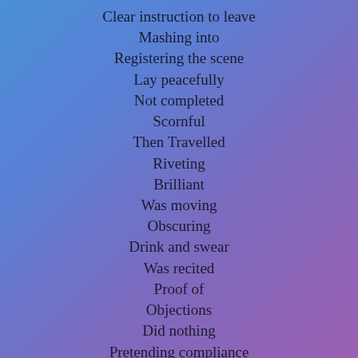Clear instruction to leave
Mashing into
Registering the scene
Lay peacefully
Not completed
Scornful
Then Travelled
Riveting
Brilliant
Was moving
Obscuring
Drink and swear
Was recited
Proof of
Objections
Did nothing
Pretending compliance